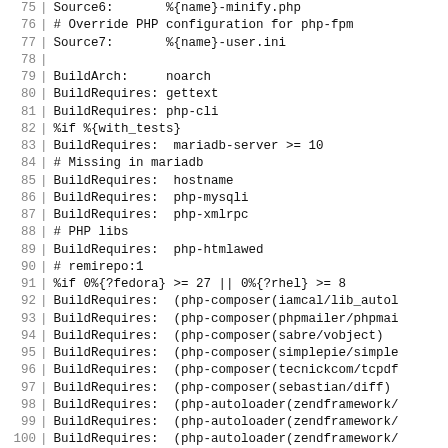Code listing lines 75-104 showing RPM spec file BuildRequires entries for PHP packages
75  Source6:       %{name}-minify.php
76  # Override PHP configuration for php-fpm
77  Source7:       %{name}-user.ini
78
79  BuildArch:     noarch
80  BuildRequires: gettext
81  BuildRequires: php-cli
82  %if %{with_tests}
83  BuildRequires:  mariadb-server >= 10
84  # Missing in mariadb
85  BuildRequires:  hostname
86  BuildRequires:  php-mysqli
87  BuildRequires:  php-xmlrpc
88  # PHP libs
89  BuildRequires:  php-htmlawed
90  # remirepo:1
91  %if 0%{?fedora} >= 27 || 0%{?rhel} >= 8
92  BuildRequires:  (php-composer(iamcal/lib_auto...
93  BuildRequires:  (php-composer(phpmailer/phpma...
94  BuildRequires:  (php-composer(sabre/vobject)
95  BuildRequires:  (php-composer(simplepie/simple...
96  BuildRequires:  (php-composer(tecnickcom/tcpdf...
97  BuildRequires:  (php-composer(sebastian/diff)
98  BuildRequires:  (php-autoloader(zendframework/...
99  BuildRequires:  (php-autoloader(zendframework/...
100 BuildRequires:  (php-autoloader(zendframework/...
101 BuildRequires:  (php-autoloader(zendframework/...
102 BuildRequires:  (php-composer(michelf/php-mark...
103 BuildRequires:  (php-composer(true/punycode)
104 BuildRequires:  (php-composer(paragonie/random...